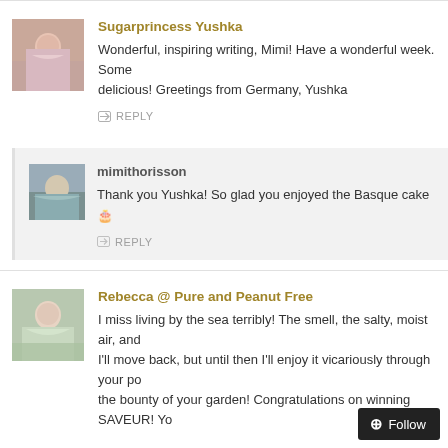Sugarprincess Yushka
Wonderful, inspiring writing, Mimi! Have a wonderful week. Some delicious! Greetings from Germany, Yushka
REPLY
mimithorisson
Thank you Yushka! So glad you enjoyed the Basque cake 🎂
REPLY
Rebecca @ Pure and Peanut Free
I miss living by the sea terribly! The smell, the salty, moist air, and I'll move back, but until then I'll enjoy it vicariously through your po the bounty of your garden! Congratulations on winning SAVEUR! Yo